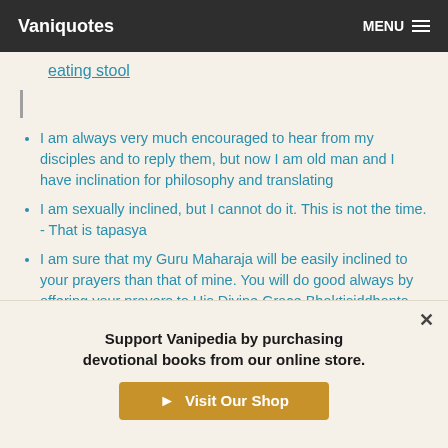Vaniquotes  MENU
eating stool
I am always very much encouraged to hear from my disciples and to reply them, but now I am old man and I have inclination for philosophy and translating
I am sexually inclined, but I cannot do it. This is not the time. - That is tapasya
I am sure that my Guru Maharaja will be easily inclined to your prayers than that of mine. You will do good always by offering your prayers to His Divine Grace Bhaktisiddhanta
Support Vanipedia by purchasing devotional books from our online store.
Visit Our Shop